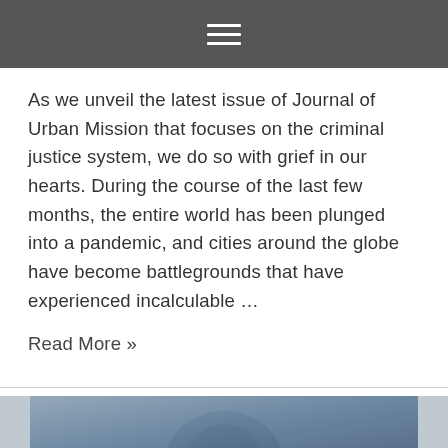☰ (hamburger menu icon)
As we unveil the latest issue of Journal of Urban Mission that focuses on the criminal justice system, we do so with grief in our hearts. During the course of the last few months, the entire world has been plunged into a pandemic, and cities around the globe have become battlegrounds that have experienced incalculable …
Read More »
[Figure (photo): Partial view of a person's face/head appearing at the bottom of the page, partially cropped]